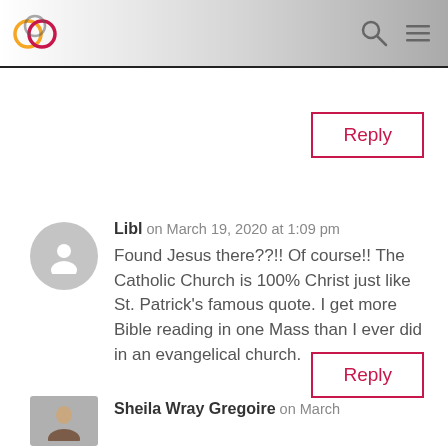Website header with logo, search icon, and menu icon
Reply
Libl on March 19, 2020 at 1:09 pm
Found Jesus there??!! Of course!! The Catholic Church is 100% Christ just like St. Patrick's famous quote. I get more Bible reading in one Mass than I ever did in an evangelical church.
Reply
Sheila Wray Gregoire on March